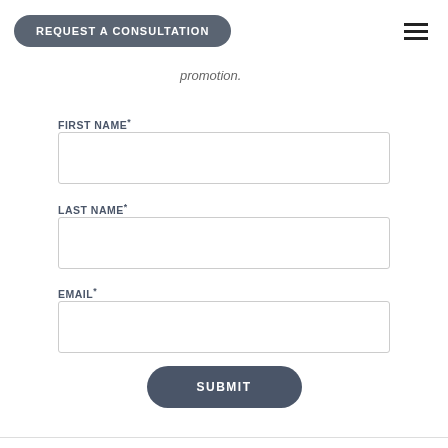REQUEST A CONSULTATION
promotion.
FIRST NAME*
LAST NAME*
EMAIL*
SUBMIT